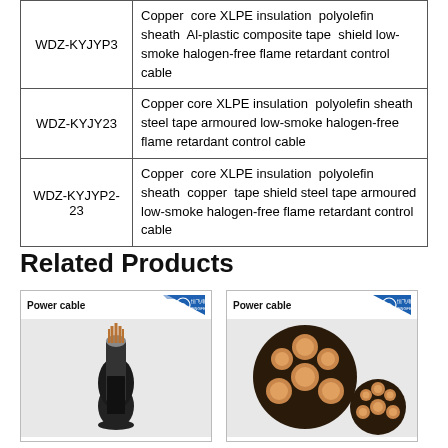|  |  |
| --- | --- |
| WDZ-KYJYP3 | Copper core XLPE insulation polyolefin sheath Al-plastic composite tape shield low-smoke halogen-free flame retardant control cable |
| WDZ-KYJY23 | Copper core XLPE insulation polyolefin sheath steel tape armoured low-smoke halogen-free flame retardant control cable |
| WDZ-KYJYP2-23 | Copper core XLPE insulation polyolefin sheath copper tape shield steel tape armoured low-smoke halogen-free flame retardant control cable |
Related Products
[Figure (photo): Power cable product photo showing a single power cable with exposed copper conductors at the top, branded with Hengfei Cable logo in header]
[Figure (photo): Power cable product photo showing cross-section of multiple power cables bundled together, branded with Hengfei Cable logo in header]